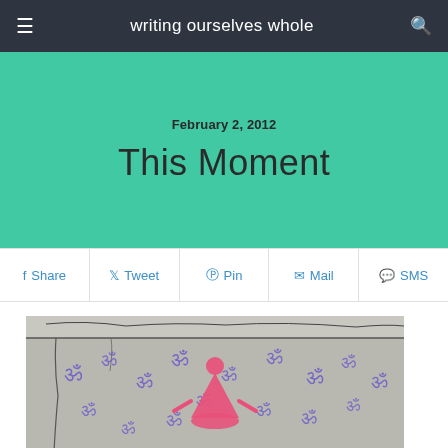writing ourselves whole
February 2, 2012
This Moment
Share  Tweet  Pin  Mail  SMS
[Figure (photo): A concrete wall with graffiti: a pink meditating figure surrounded by purple Om (ॐ) symbols stenciled across the surface.]